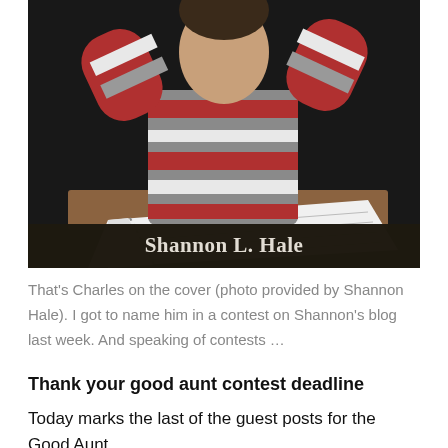[Figure (photo): A child with arms raised behind head, wearing a red and gray striped sweater, sitting at a desk with a notebook. The photo has a dark name bar overlay at the bottom reading 'Shannon L. Hale'.]
That's Charles on the cover (photo provided by Shannon Hale). I got to name him in a contest on Shannon's blog last week. And speaking of contests …
Thank your good aunt contest deadline
Today marks the last of the guest posts for the Good Aunt